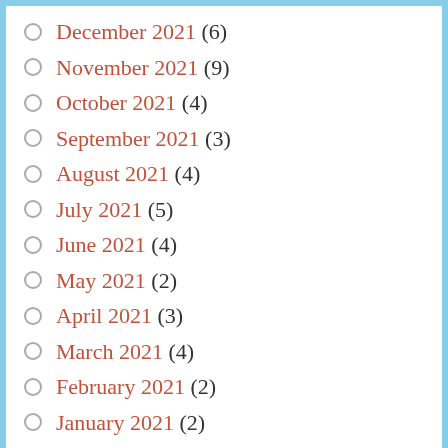December 2021 (6)
November 2021 (9)
October 2021 (4)
September 2021 (3)
August 2021 (4)
July 2021 (5)
June 2021 (4)
May 2021 (2)
April 2021 (3)
March 2021 (4)
February 2021 (2)
January 2021 (2)
December 2020 (3)
November 2020 (2)
October 2020 (5)
September 2020 (2)